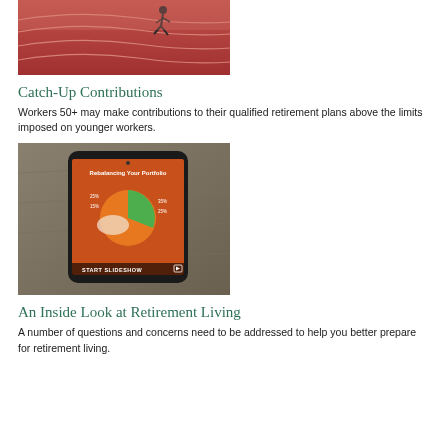[Figure (photo): Person running on a red athletic track, seen from above]
Catch-Up Contributions
Workers 50+ may make contributions to their qualified retirement plans above the limits imposed on younger workers.
[Figure (screenshot): Smartphone showing a retirement planning slideshow app with pie chart on an orange background, placed inside a bag. Bar at bottom reads START SLIDESHOW.]
An Inside Look at Retirement Living
A number of questions and concerns need to be addressed to help you better prepare for retirement living.